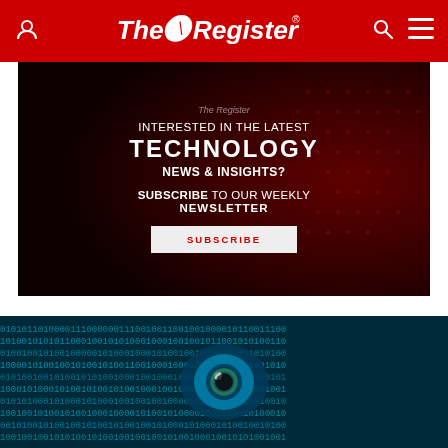The Register — navigation bar with logo, user icon, search, and menu
[Figure (infographic): Advertisement banner: 'INTERESTED IN THE LATEST TECHNOLOGY NEWS & INSIGHTS? SUBSCRIBE TO OUR WEEKLY NEWSLETTER' with a Subscribe button, on a dark red background with circuit/tech imagery.]
[Figure (photo): Close-up photo of a human eye overlaid with binary code (0s and 1s) in teal/blue colors, representing digital surveillance or cybersecurity.]